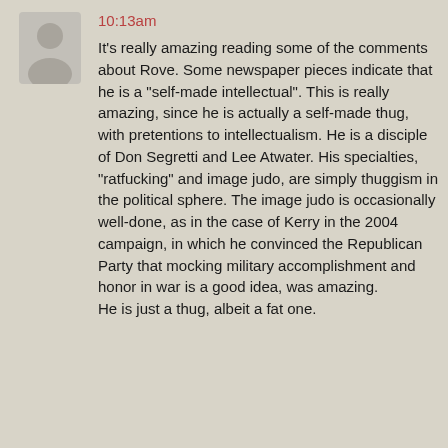[Figure (illustration): Gray silhouette avatar icon of a person (head and shoulders), on a light gray background]
10:13am
It's really amazing reading some of the comments about Rove. Some newspaper pieces indicate that he is a "self-made intellectual". This is really amazing, since he is actually a self-made thug, with pretentions to intellectualism. He is a disciple of Don Segretti and Lee Atwater. His specialties, "ratfucking" and image judo, are simply thuggism in the political sphere. The image judo is occasionally well-done, as in the case of Kerry in the 2004 campaign, in which he convinced the Republican Party that mocking military accomplishment and honor in war is a good idea, was amazing. He is just a thug, albeit a fat one.